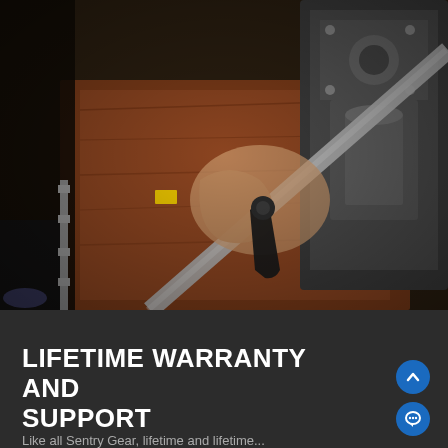[Figure (photo): Close-up photo of a mechanic's hands working with a wrench or tool on heavy machinery, with a wooden workbench surface and metal industrial equipment visible. The scene is in an industrial or workshop setting.]
LIFETIME WARRANTY AND SUPPORT
Like all Sentry Gear, lifetime and lifetime...